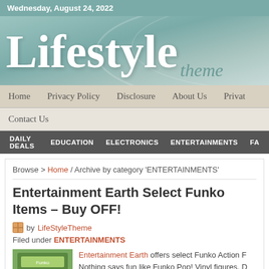Wednesday, August 24, 2022
[Figure (logo): Lifestyle Theme logo on teal gradient background]
Home  Privacy Policy  Disclosure  About Us  Privat
Contact Us
DAILY DEALS  EDUCATION  ELECTRONICS  ENTERTAINMENTS  FA
Browse > Home / Archive by category 'ENTERTAINMENTS'
Entertainment Earth Select Funko Items – Buy OFF!
by LifeStyleTheme
Filed under ENTERTAINMENTS
Entertainment Earth offers select Funko Action F Nothing says fun like Funko Pop! Vinyl figures, D